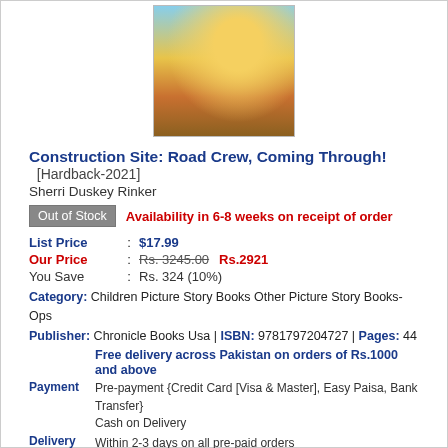[Figure (illustration): Book cover of Construction Site: Road Crew, Coming Through! showing animated construction trucks on a road with desert scenery]
Construction Site: Road Crew, Coming Through! [Hardback-2021]
Sherri Duskey Rinker
Out of Stock   Availability in 6-8 weeks on receipt of order
| List Price | : | $17.99 |
| Our Price | : | Rs. 3245.00   Rs.2921 |
| You Save | : | Rs. 324 (10%) |
Category: Children Picture Story Books Other Picture Story Books-Ops
Publisher: Chronicle Books Usa | ISBN: 9781797204727 | Pages: 44
Free delivery across Pakistan on orders of Rs.1000 and above
Payment   Pre-payment {Credit Card [Visa & Master], Easy Paisa, Bank Transfer} Cash on Delivery
Delivery   Within 2-3 days on all pre-paid orders
Within 7 days on all Cash on Delivery orders
Next day delivery in Lahore on orders placed till 1 pm